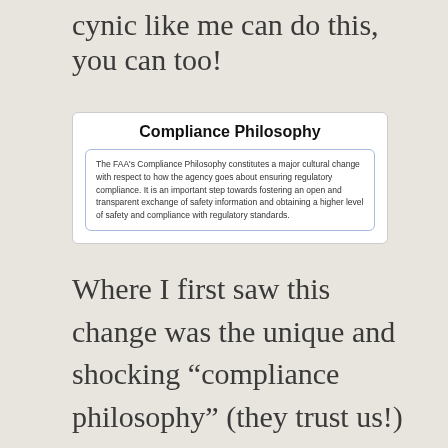cynic like me can do this, you can too!
[Figure (other): FAA Compliance Philosophy box with title 'Compliance Philosophy' and inner bordered text box describing the FAA's Compliance Philosophy as a major cultural change regarding regulatory compliance.]
Where I first saw this change was the unique and shocking “compliance philosophy” (they trust us!) and this change has expanded to a series of very positive regulatory reforms. Essentially the overview of all these changes is an attitude of working together toward...